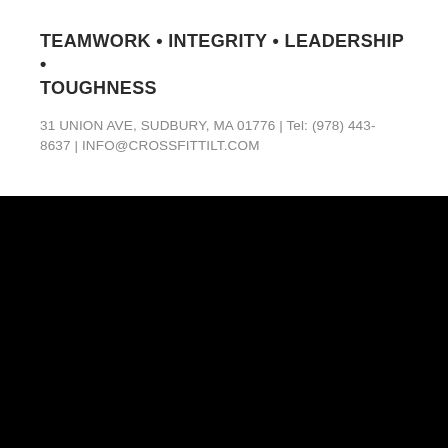TEAMWORK • INTEGRITY • LEADERSHIP • TOUGHNESS
31 UNION AVE, SUDBURY, MA 01776 | Tel: (978) 443-8637 | INFO@CROSSFITTILT.COM